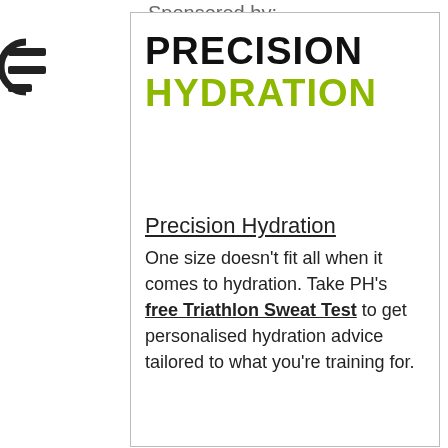Sponsored by:
[Figure (logo): Partially visible logo on the left edge of the page]
PRECISION HYDRATION
Precision Hydration
One size doesn't fit all when it comes to hydration. Take PH's free Triathlon Sweat Test to get personalised hydration advice tailored to what you're training for.